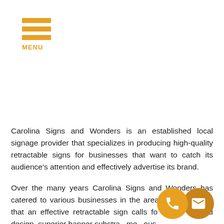[Figure (infographic): Orange hamburger menu icon with three horizontal bars and the word MENU below in orange]
Carolina Signs and Wonders is an established local signage provider that specializes in producing high-quality retractable signs for businesses that want to catch its audience's attention and effectively advertise its brand.
Over the many years Carolina Signs and Wonders has catered to various businesses in the area, we've learned that an effective retractable sign calls fo eg ut and design, superior banner substra me ous
[Figure (illustration): Two overlapping circular contact icons at bottom right: orange phone icon and darker orange email/envelope icon]